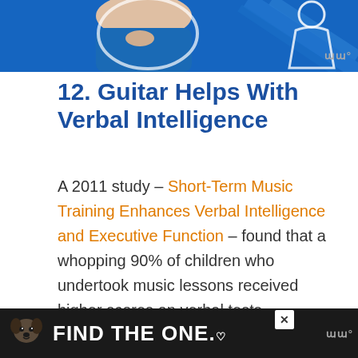[Figure (photo): Cropped photo of a person and a dog against a blue background, top portion visible]
12. Guitar Helps With Verbal Intelligence
A 2011 study – Short-Term Music Training Enhances Verbal Intelligence and Executive Function – found that a whopping 90% of children who undertook music lessons received higher scores on verbal tests.
Another study from 2010 found that
[Figure (advertisement): Dark advertisement banner: dog image on left, FIND THE ONE. text, close button, watermark logo]